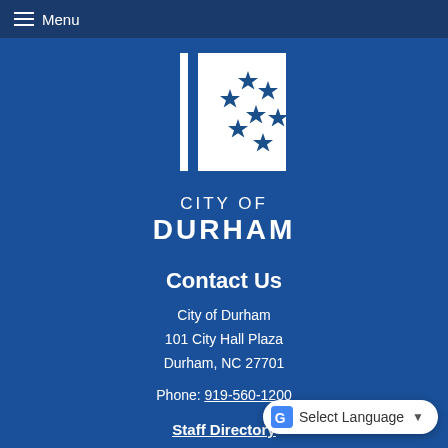Menu
[Figure (logo): City of Durham official logo: white rectangle with two vertical white bars and seven stars arranged diagonally, on a blue background. Below the logo graphic: 'CITY OF DURHAM' in white text.]
Contact Us
City of Durham
101 City Hall Plaza
Durham, NC 27701
Phone: 919-560-1200
Staff Directory